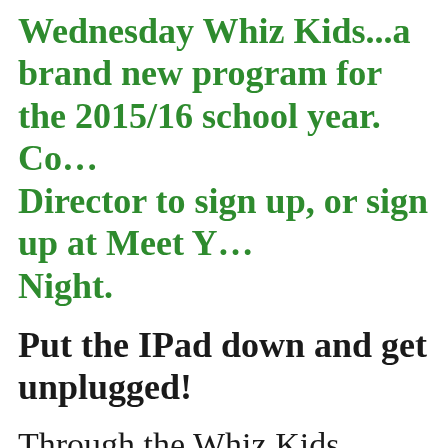Wednesday Whiz Kids...a brand new program for the 2015/16 school year. Contact Director to sign up, or sign up at Meet Your Teacher Night.
Put the IPad down and get unplugged!
Through the Whiz Kids Enrichment Program, students will have the opportunity to discover the ever-changing and growing world. Through hands-on games and teacher engaged activities, students will take a creative and fun approach to increase math and science awareness. The goal is to have children say, "WOW! I didn't know math and science was so much fun!"